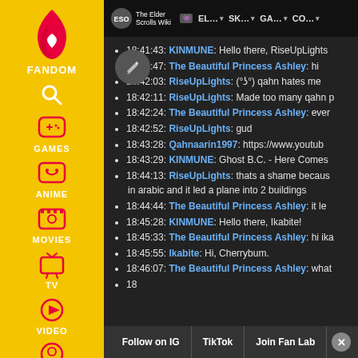[Figure (screenshot): Fandom wiki website screenshot showing The Elder Scrolls Wiki chat log with sidebar navigation and bottom bar]
18:41:43: KINMUNE: Hello there, RiseUpLights
18:41:47: The Beautiful Princess Ashley: hi
18:42:03: RiseUpLights: (°ʖ°) qahn hates me
18:42:11: RiseUpLights: Made too many qahn p
18:42:24: The Beautiful Princess Ashley: ever
18:42:52: RiseUpLights: gud
18:43:28: Qahnaarin1997: https://www.youtube
18:43:29: KINMUNE: Ghost B.C. - Here Comes
18:44:13: RiseUpLights: thats a shame because in arabic and it led a plane into 2 buildings
18:44:44: The Beautiful Princess Ashley: it le
18:45:28: KINMUNE: Hello there, Ikabite!
18:45:33: The Beautiful Princess Ashley: hi ika
18:45:55: Ikabite: Hi, Cherrybum.
18:46:07: The Beautiful Princess Ashley: what
Follow on IG  TikTok  Join Fan Lab  ✕